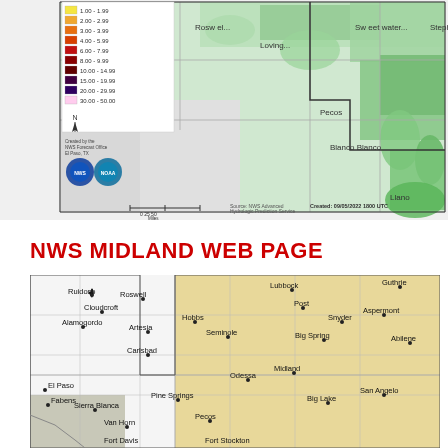[Figure (map): NWS precipitation map showing rainfall amounts over New Mexico and Texas region, with green shading indicating precipitation levels. Legend shows color scale from 1.00-1.99 up to 30.00-50.00 inches. Created by NWS Forecast Office El Paso, TX. Created: 09/05/2022 1800 UTC.]
NWS MIDLAND WEB PAGE
[Figure (map): NWS Midland area map showing cities including Ruidoso, Roswell, Cloudcroft, Alamogordo, Artesia, Hobbs, Carlsbad, Seminole, Lubbock, Guthrie, Post, Snyder, Aspermont, Big Spring, Abilene, El Paso, Fabens, Sierra Blanca, Pine Springs, Odessa, Midland, Van Horn, Pecos, Big Lake, San Angelo, Fort Davis, Fort Stockton.]